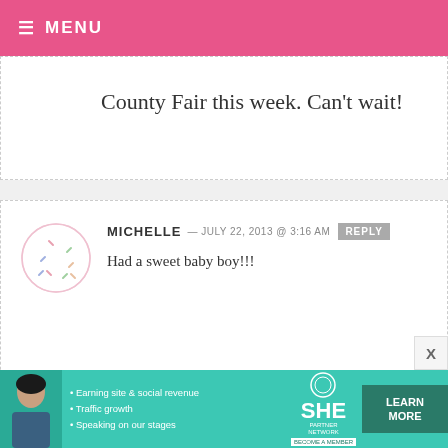MENU
County Fair this week. Can't wait!
MICHELLE — JULY 22, 2013 @ 3:16 AM REPLY
Had a sweet baby boy!!!
KESHA — JULY 22, 2013 @ 3:16 AM REPLY
Oh I would love a Ice Cream Maker! My daughter would too! She has been asking me to make her some
[Figure (infographic): SHE Partner Network advertisement banner with photo of woman, bullet points about earning site & social revenue, traffic growth, speaking on our stages, SHE logo, and Learn More button]